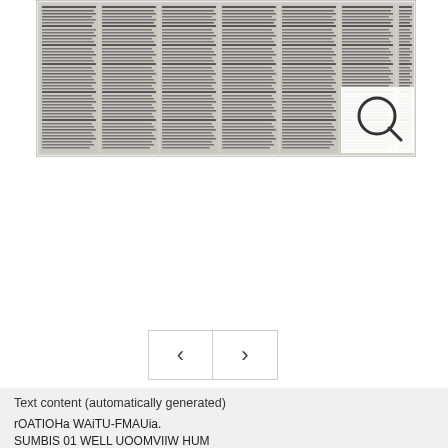[Figure (screenshot): Scanned newspaper or legal document page shown as a thumbnail with a magnify/search icon in the top-right corner. The document has multiple columns of dense small text. A magnifying glass icon is overlaid in the upper-right.]
[Figure (other): Navigation buttons: left arrow (<) and right arrow (>) side by side in bordered boxes for paging through document images.]
Text content (automatically generated)
rOATIOHa WAiTU-FMAUia.
SUMBIS 01 WELL UOOMVIIW HUM